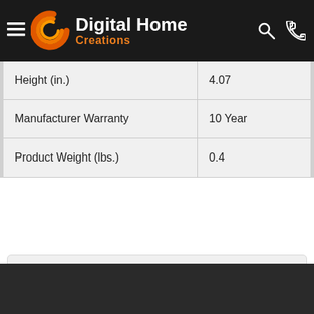Digital Home Creations
| Height (in.) | 4.07 |
| Manufacturer Warranty | 10 Year |
| Product Weight (lbs.) | 0.4 |
⚠ Proposition 65 Warning for California Residents
Learn More
[Figure (photo): Dark background photo strip at bottom of page]